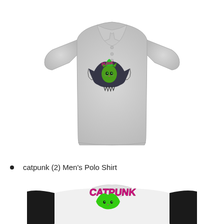[Figure (photo): Gray men's polo shirt with a catpunk graphic design on the left chest area, featuring a green and magenta stylized cat punk illustration with dark background elements.]
catpunk (2) Men's Polo Shirt
[Figure (photo): Partial view of a baseball raglan shirt with black sleeves and white body, featuring a large catpunk graphic on the front with pink/magenta CATPUNK text and green flame design.]